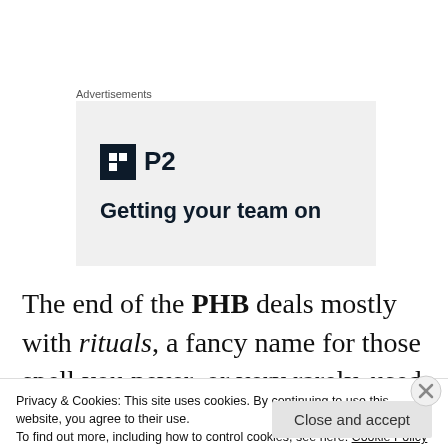Advertisements
[Figure (other): Advertisement banner for P2 with logo icon and tagline 'Getting your team on']
The end of the PHB deals mostly with rituals, a fancy name for those spell you never, or very rarely, used in combat.  Spells like scry or locate object, utility spells
Privacy & Cookies: This site uses cookies. By continuing to use this website, you agree to their use.
To find out more, including how to control cookies, see here: Cookie Policy
Close and accept